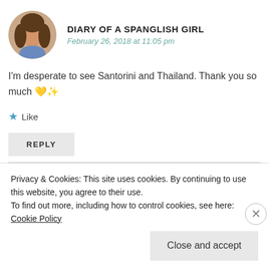[Figure (photo): Circular avatar photo of a woman with dark hair, outdoors background]
DIARY OF A SPANGLISH GIRL
February 26, 2018 at 11:05 pm
I'm desperate to see Santorini and Thailand. Thank you so much 💛✨
★ Like
REPLY
[Figure (photo): Partial circular avatar, partially obscured by cookie banner]
Privacy & Cookies: This site uses cookies. By continuing to use this website, you agree to their use.
To find out more, including how to control cookies, see here: Cookie Policy
Close and accept